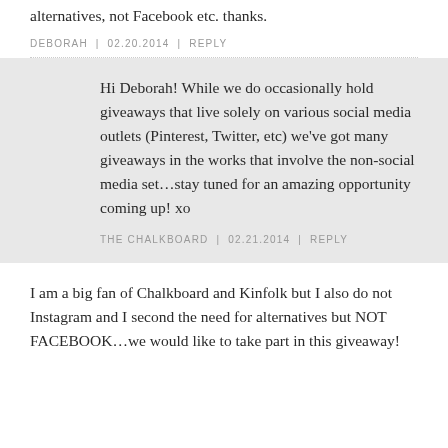alternatives, not Facebook etc. thanks.
DEBORAH | 02.20.2014 | REPLY
Hi Deborah! While we do occasionally hold giveaways that live solely on various social media outlets (Pinterest, Twitter, etc) we've got many giveaways in the works that involve the non-social media set...stay tuned for an amazing opportunity coming up! xo
THE CHALKBOARD | 02.21.2014 | REPLY
I am a big fan of Chalkboard and Kinfolk but I also do not Instagram and I second the need for alternatives but NOT FACEBOOK...we would like to take part in this giveaway!